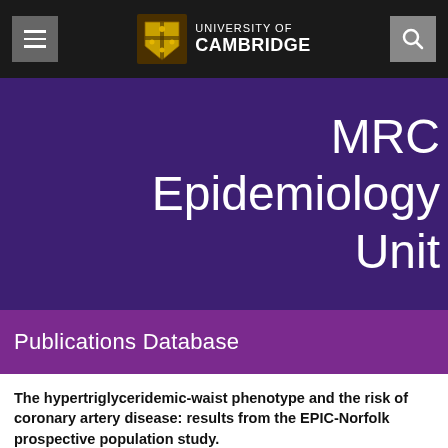UNIVERSITY OF CAMBRIDGE
MRC Epidemiology Unit
Publications Database
The hypertriglyceridemic-waist phenotype and the risk of coronary artery disease: results from the EPIC-Norfolk prospective population study.
CMAJ : Canadian Medical Association journal = journal de l'Association medicale canadienne 2010 ; 182: 1427-32.